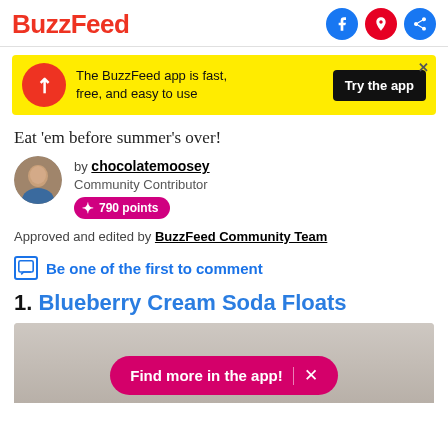BuzzFeed
[Figure (screenshot): BuzzFeed app advertisement banner with yellow background, red circle logo with arrow, and 'Try the app' black button. Text: 'The BuzzFeed app is fast, free, and easy to use']
Eat 'em before summer's over!
[Figure (photo): Author avatar photo of chocolatemoosey]
by chocolatemoosey
Community Contributor
790 points
Approved and edited by BuzzFeed Community Team
Be one of the first to comment
1. Blueberry Cream Soda Floats
[Figure (photo): Partial photo of Blueberry Cream Soda Floats with pink 'Find more in the app!' overlay button]
Find more in the app!